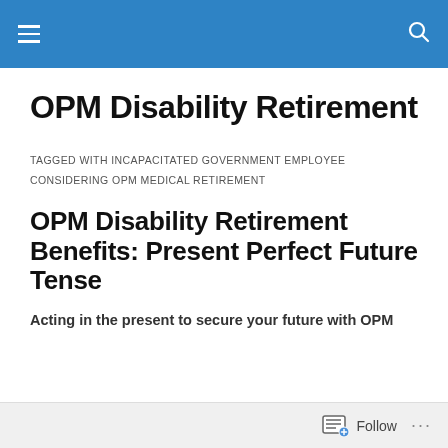OPM Disability Retirement — navigation bar
OPM Disability Retirement
TAGGED WITH INCAPACITATED GOVERNMENT EMPLOYEE
CONSIDERING OPM MEDICAL RETIREMENT
OPM Disability Retirement Benefits: Present Perfect Future Tense
Acting in the present to secure your future with OPM
Follow